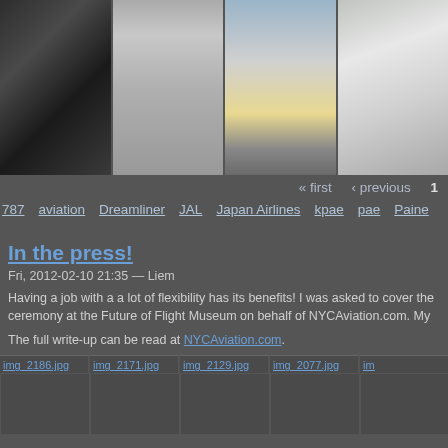[Figure (photo): Grid of 4 airplane photos: cockpit interior, cabin seats interior, exterior on tarmac, nose close-up]
« first   ‹ previous   1
787   aviation   Dreamliner   JAL   Japan Airlines   kpae   pae   Paine...
In the press!
Fri, 2012-02-10 21:35 — Liem
Having a job with a a lot of flexibility has its benefits! I was asked to cover the ceremony at the Future of Flight Museum on behalf of NYCAviation.com. My
The full write-up can be read at NYCAviation.com.
img_2186.jpg   img_2171.jpg   img_2129.jpg   img_2077.jpg   im...
[Figure (photo): Row of image thumbnails: img_2186.jpg, img_2171.jpg, img_2129.jpg, img_2077.jpg, and more]